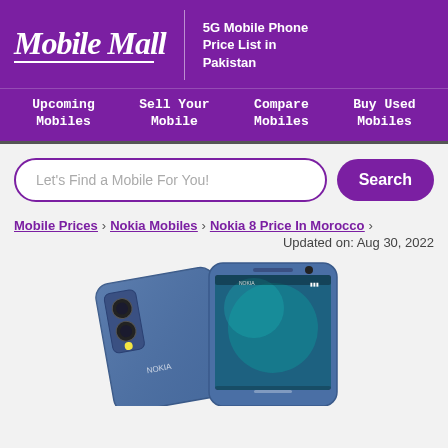[Figure (logo): Mobile Mall logo in white italic script on purple background with underline, next to text '5G Mobile Phone Price List in Pakistan']
Upcoming Mobiles | Sell Your Mobile | Compare Mobiles | Buy Used Mobiles
Let's Find a Mobile For You!
Mobile Prices > Nokia Mobiles > Nokia 8 Price In Morocco >
Updated on: Aug 30, 2022
[Figure (photo): Nokia 8 smartphone shown from back and front, steel/blue color with dual camera setup, displayed on light gray background]